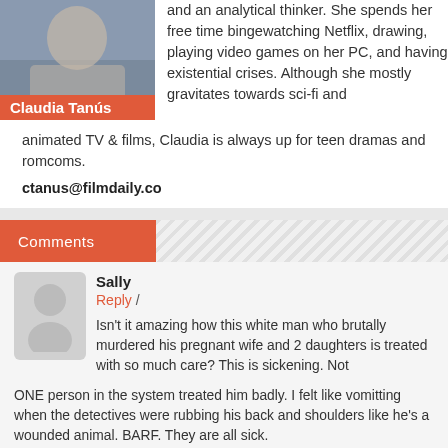[Figure (photo): Photo of Claudia Tanús, a young woman with long blonde hair, with an orange name badge overlay reading 'Claudia Tanús']
and an analytical thinker. She spends her free time bingewatching Netflix, drawing, playing video games on her PC, and having existential crises. Although she mostly gravitates towards sci-fi and animated TV & films, Claudia is always up for teen dramas and romcoms.
ctanus@filmdaily.co
Comments
Sally
Reply /
Isn't it amazing how this white man who brutally murdered his pregnant wife and 2 daughters is treated with so much care? This is sickening. Not ONE person in the system treated him badly. I felt like vomitting when the detectives were rubbing his back and shoulders like he's a wounded animal. BARF. They are all sick.